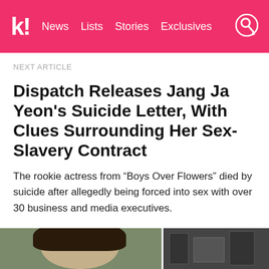k! News Lists Stories Exclusives
NEXT ARTICLE
Dispatch Releases Jang Ja Yeon's Suicide Letter, With Clues Surrounding Her Sex-Slavery Contract
The rookie actress from “Boys Over Flowers” died by suicide after allegedly being forced into sex with over 30 business and media executives.
[Figure (photo): Two side-by-side photos at the bottom of the page: left photo shows a woman with dark hair on an olive green background, right photo is a black and white image showing an interior scene.]